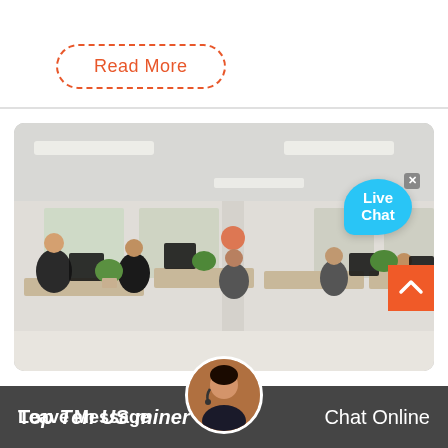[Figure (other): A dashed-border orange 'Read More' button at the top left of the page]
[Figure (photo): Office interior photo showing many employees working at computer workstations in an open plan office with white desks, plants, and overhead fluorescent lighting. A 'Live Chat' speech bubble overlay appears in the top right of the image.]
Top Ten US miner
Leave Message
Chat Online